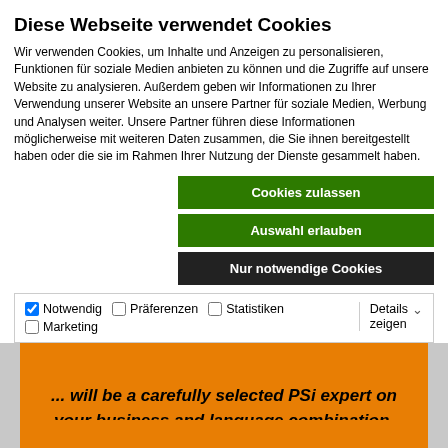Diese Webseite verwendet Cookies
Wir verwenden Cookies, um Inhalte und Anzeigen zu personalisieren, Funktionen für soziale Medien anbieten zu können und die Zugriffe auf unsere Website zu analysieren. Außerdem geben wir Informationen zu Ihrer Verwendung unserer Website an unsere Partner für soziale Medien, Werbung und Analysen weiter. Unsere Partner führen diese Informationen möglicherweise mit weiteren Daten zusammen, die Sie ihnen bereitgestellt haben oder die sie im Rahmen Ihrer Nutzung der Dienste gesammelt haben.
Cookies zulassen
Auswahl erlauben
Nur notwendige Cookies
| Notwendig | Präferenzen | Statistiken | Details zeigen |
| Marketing |  |  |  |
... will be a carefully selected PSi expert on your business and language combination.